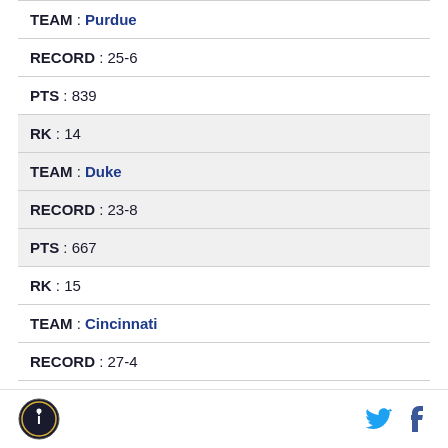| TEAM | Purdue |
| RECORD | 25-6 |
| PTS | 839 |
| RK | 14 |
| TEAM | Duke |
| RECORD | 23-8 |
| PTS | 667 |
| RK | 15 |
| TEAM | Cincinnati |
| RECORD | 27-4 |
| PTS | 634 |
[Figure (logo): Circular sports logo in footer]
[Figure (logo): Twitter bird icon in footer]
[Figure (logo): Facebook f icon in footer]